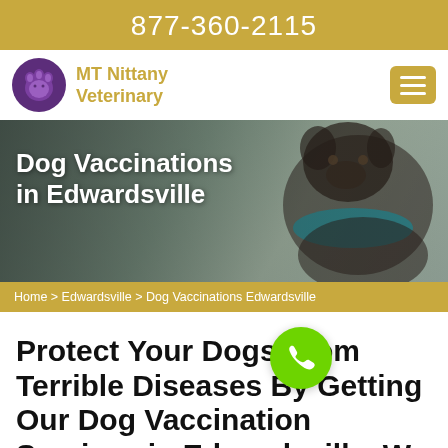877-360-2115
[Figure (logo): MT Nittany Veterinary logo with purple cat/dog icon and gold text]
[Figure (photo): Hero banner photo of a dark brown wirehaired dog wearing a teal/blue bandana, with text overlay 'Dog Vaccinations in Edwardsville']
Dog Vaccinations in Edwardsville
Home > Edwardsville > Dog Vaccinations Edwardsville
Protect Your Dogs From Terrible Diseases By Getting Our Dog Vaccination Services in Edwardsville. We Are A